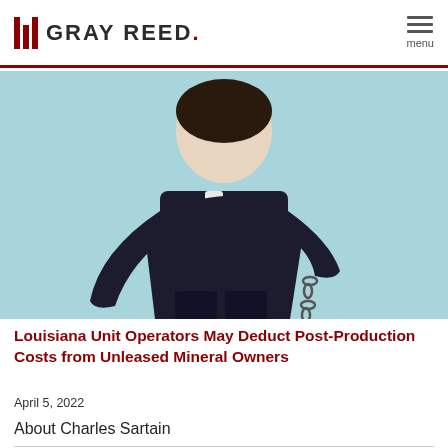GRAY REED. menu
[Figure (photo): Person in dark suit holding a large wrecking ball chain against a light blue background, viewed from torso down]
Louisiana Unit Operators May Deduct Post-Production Costs from Unleased Mineral Owners
April 5, 2022
About Charles Sartain